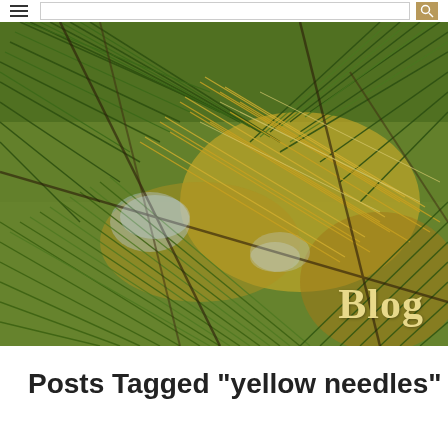Blog
[Figure (photo): Close-up photo of pine tree needles showing green and yellow/gold coloring against a bright background. The needles are long and clustered, with some appearing golden-yellow, suggesting seasonal needle drop or disease.]
Blog
Posts Tagged "yellow needles"